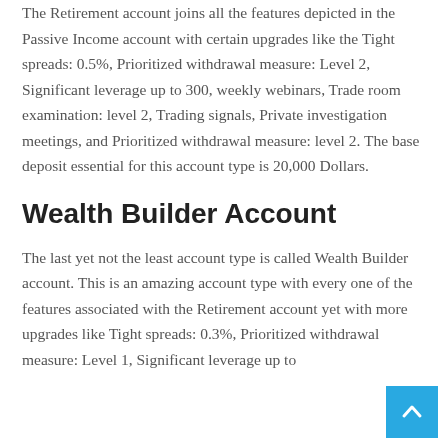The Retirement account joins all the features depicted in the Passive Income account with certain upgrades like the Tight spreads: 0.5%, Prioritized withdrawal measure: Level 2, Significant leverage up to 300, weekly webinars, Trade room examination: level 2, Trading signals, Private investigation meetings, and Prioritized withdrawal measure: level 2. The base deposit essential for this account type is 20,000 Dollars.
Wealth Builder Account
The last yet not the least account type is called Wealth Builder account. This is an amazing account type with every one of the features associated with the Retirement account yet with more upgrades like Tight spreads: 0.3%, Prioritized withdrawal measure: Level 1, Significant leverage up to